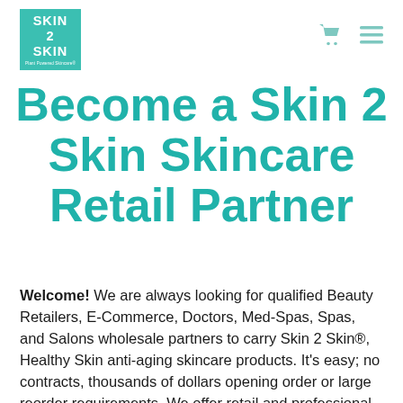[Figure (logo): Skin 2 Skin logo: teal/green square with white bold text reading SKIN 2 SKIN and a small tagline below]
Become a Skin 2 Skin Skincare Retail Partner
Welcome! We are always looking for qualified Beauty Retailers, E-Commerce, Doctors, Med-Spas, Spas, and Salons wholesale partners to carry Skin 2 Skin®, Healthy Skin anti-aging skincare products. It's easy; no contracts, thousands of dollars opening order or large reorder requirements. We offer retail and professional